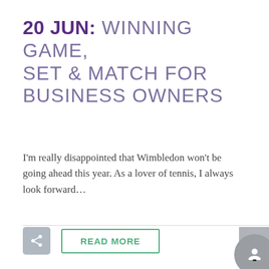20 JUN: WINNING GAME, SET & MATCH FOR BUSINESS OWNERS
I'm really disappointed that Wimbledon won't be going ahead this year. As a lover of tennis, I always look forward…